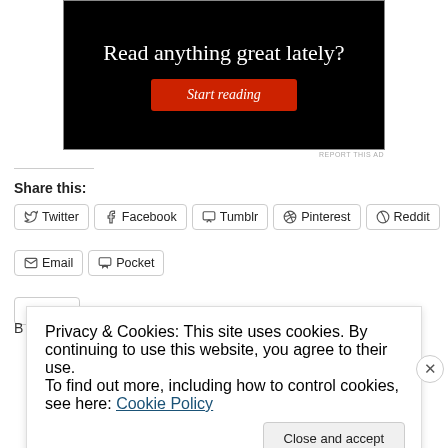[Figure (other): Advertisement banner with black background, text 'Read anything great lately?' and a red 'Start reading' button]
REPORT THIS AD
Share this:
Twitter  Facebook  Tumblr  Pinterest  Reddit  Email  Pocket
Like
Privacy & Cookies: This site uses cookies. By continuing to use this website, you agree to their use.
To find out more, including how to control cookies, see here: Cookie Policy
Close and accept